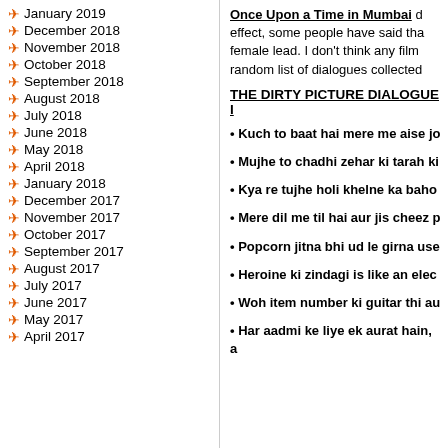January 2019
December 2018
November 2018
October 2018
September 2018
August 2018
July 2018
June 2018
May 2018
April 2018
January 2018
December 2017
November 2017
October 2017
September 2017
August 2017
July 2017
June 2017
May 2017
April 2017
Once Upon a Time in Mumbai d effect, some people have said tha female lead. I don't think any film random list of dialogues collected
THE DIRTY PICTURE DIALOGUE I
Kuch to baat hai mere me aise jo
Mujhe to chadhi zehar ki tarah ki
Kya re tujhe holi khelne ka baho
Mere dil me til hai aur jis cheez p
Popcorn jitna bhi ud le girna use
Heroine ki zindagi is like an elec
Woh item number ki guitar thi au
Har aadmi ke liye ek aurat hain, a